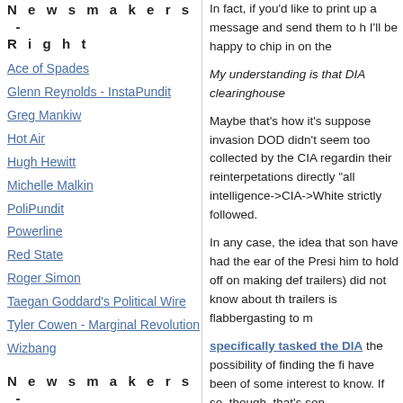Newsmakers - Right
Ace of Spades
Glenn Reynolds - InstaPundit
Greg Mankiw
Hot Air
Hugh Hewitt
Michelle Malkin
PoliPundit
Powerline
Red State
Roger Simon
Taegan Goddard's Political Wire
Tyler Cowen - Marginal Revolution
Wizbang
Newsmakers - Unclaimed
Ann Althouse
KC Johnson / Duke Lacrosse
In fact, if you'd like to print up a message and send them to h I'll be happy to chip in on the
My understanding is that DIA clearinghouse
Maybe that's how it's supposed invasion DOD didn't seem too collected by the CIA regardin their reinterpetations directly "all intelligence->CIA->White strictly followed.
In any case, the idea that son have had the ear of the Presi him to hold off on making def trailers) did not know about th trailers is flabbergasting to m
specifically tasked the DIA the possibility of finding the fi have been of some interest to know. If so, though, that's son